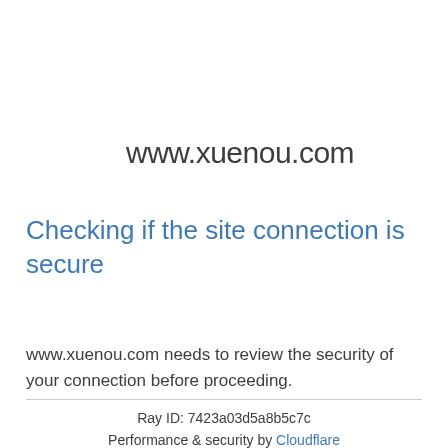www.xuenou.com
Checking if the site connection is secure
www.xuenou.com needs to review the security of your connection before proceeding.
Ray ID: 7423a03d5a8b5c7c
Performance & security by Cloudflare